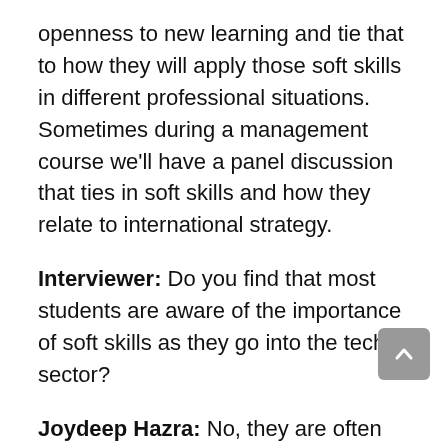openness to new learning and tie that to how they will apply those soft skills in different professional situations. Sometimes during a management course we'll have a panel discussion that ties in soft skills and how they relate to international strategy.
Interviewer: Do you find that most students are aware of the importance of soft skills as they go into the tech sector?
Joydeep Hazra: No, they are often blindsided by that. Usually they do not think about these things. They think about the books and the course curriculum. And they think quite a bit about, “If I can pass the test, I’m done.” And my point to them is: Once you pass your tests, that’s when your life begins. Then you’re exposed to an unknown world